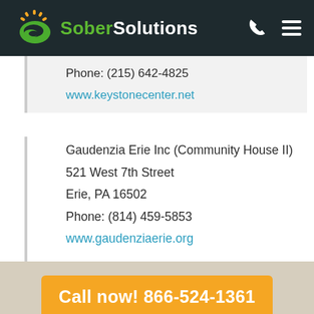Sober Solutions
Phone: (215) 642-4825
www.keystonecenter.net
Gaudenzia Erie Inc (Community House II)
521 West 7th Street
Erie, PA 16502
Phone: (814) 459-5853
www.gaudenziaerie.org
Call now! 866-524-1361
Confidential Free Help | 24/7 Availability